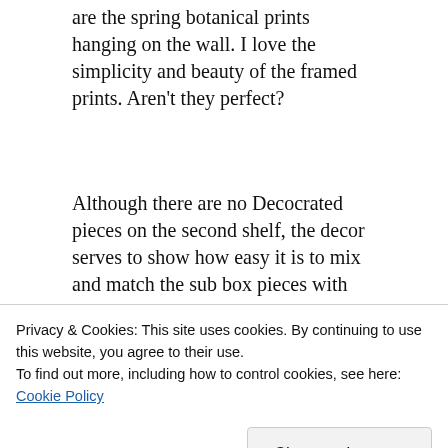are the spring botanical prints hanging on the wall. I love the simplicity and beauty of the framed prints. Aren't they perfect?
Although there are no Decocrated pieces on the second shelf, the decor serves to show how easy it is to mix and match the sub box pieces with items I already own. That darling print in the white frame is actually a birthday card I received this year from Greg's cousin. I love it…and her thoughtfulness.
[Figure (photo): Partial view of a shelf display with greenery/plants on the left and a brown decorative object on the right, against a beige/tan wall background.]
Privacy & Cookies: This site uses cookies. By continuing to use this website, you agree to their use.
To find out more, including how to control cookies, see here: Cookie Policy
Close and accept